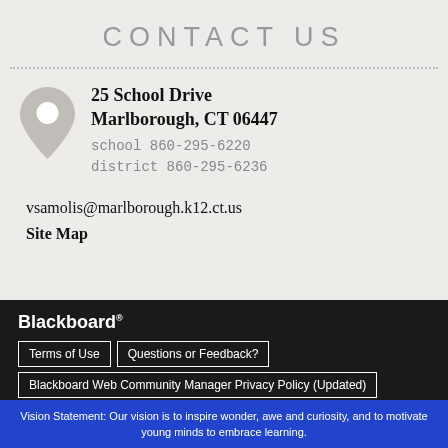CONTACT US
25 School Drive
Marlborough, CT 06447
school 860-295-6220
district 860-295-6236
vsamolis@marlborough.k12.ct.us
Site Map
[Figure (logo): Blackboard logo in white text on dark background]
Terms of Use
Questions or Feedback?
Blackboard Web Community Manager Privacy Policy (Updated)
Copyright © 2002-2022 Blackboard, Inc. All rights reserved.
Vision Statement: Our vision is to inspire wonder, awe and curiosity, and to motivate young minds to embrace learning.